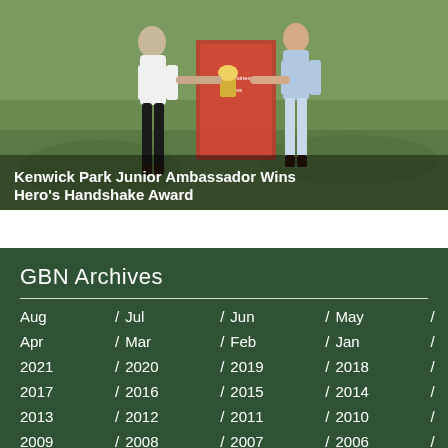[Figure (photo): Two people on a golf course shaking hands or exchanging an award, with a banner/sign in the background. One person wears dark leggings and white top, the other wears a light blue outfit. Green grass visible.]
Kenwick Park Junior Ambassador Wins Hero's Handshake Award
GBN Archives
Aug / Jul / Jun / May / Apr / Mar / Feb / Jan / 2021 / 2020 / 2019 / 2018 / 2017 / 2016 / 2015 / 2014 / 2013 / 2012 / 2011 / 2010 / 2009 / 2008 / 2007 / 2006 /